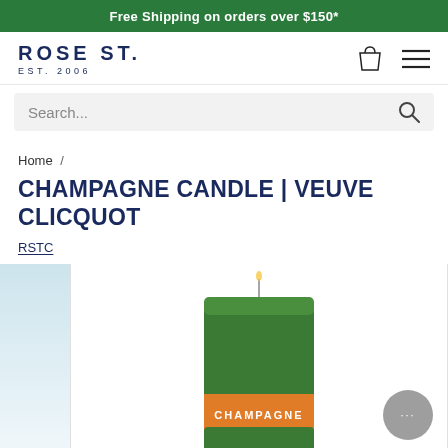Free Shipping on orders over $150*
[Figure (logo): Rose St. EST. 2006 logo with shopping bag and hamburger menu icons]
Search...
Home /
CHAMPAGNE CANDLE | VEUVE CLICQUOT
RSTC
[Figure (photo): Champagne candle in a green glass vessel with an orange Champagne label, partially visible]